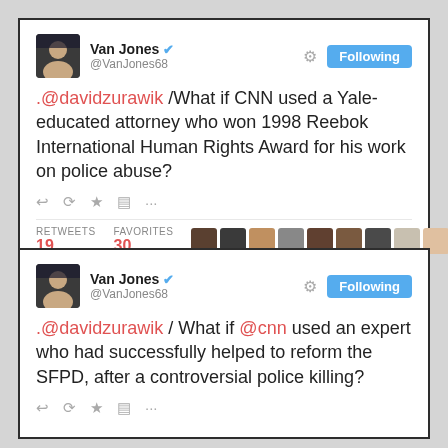[Figure (screenshot): Tweet by @VanJones68: '.@davidzurawik /What if CNN used a Yale-educated attorney who won 1998 Reebok International Human Rights Award for his work on police abuse?' with 19 retweets and 30 favorites.]
[Figure (screenshot): Tweet by @VanJones68: '.@davidzurawik / What if @cnn used an expert who had successfully helped to reform the SFPD, after a controversial police killing?']